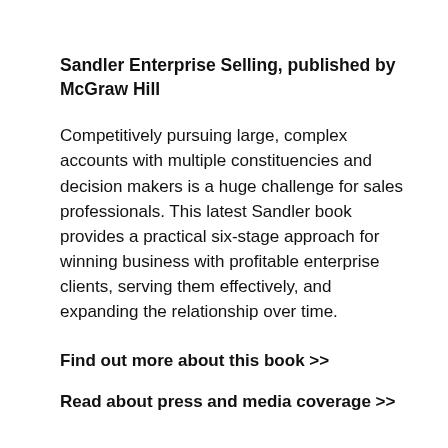Sandler Enterprise Selling, published by McGraw Hill
Competitively pursuing large, complex accounts with multiple constituencies and decision makers is a huge challenge for sales professionals. This latest Sandler book provides a practical six-stage approach for winning business with profitable enterprise clients, serving them effectively, and expanding the relationship over time.
Find out more about this book >>
Read about press and media coverage >>